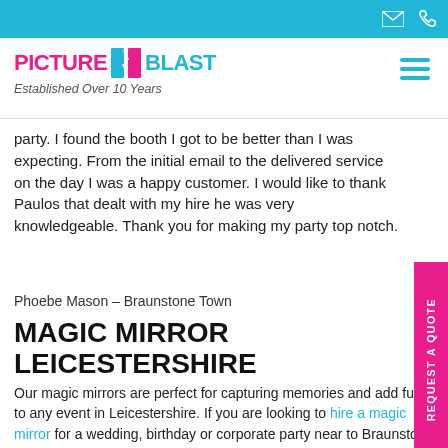Picture Blast — Established Over 10 Years
party. I found the booth I got to be better than I was expecting. From the initial email to the delivered service on the day I was a happy customer. I would like to thank Paulos that dealt with my hire he was very knowledgeable. Thank you for making my party top notch.
Phoebe Mason – Braunstone Town
MAGIC MIRROR LEICESTERSHIRE
Our magic mirrors are perfect for capturing memories and add fun to any event in Leicestershire. If you are looking to hire a magic mirror for a wedding, birthday or corporate party near to Braunstone Town then please submit a request a quote.